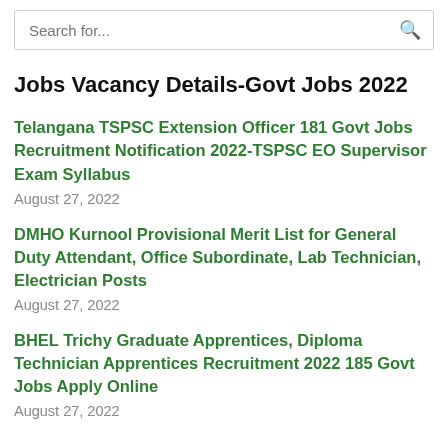Search for...
Jobs Vacancy Details-Govt Jobs 2022
Telangana TSPSC Extension Officer 181 Govt Jobs Recruitment Notification 2022-TSPSC EO Supervisor Exam Syllabus
August 27, 2022
DMHO Kurnool Provisional Merit List for General Duty Attendant, Office Subordinate, Lab Technician, Electrician Posts
August 27, 2022
BHEL Trichy Graduate Apprentices, Diploma Technician Apprentices Recruitment 2022 185 Govt Jobs Apply Online
August 27, 2022